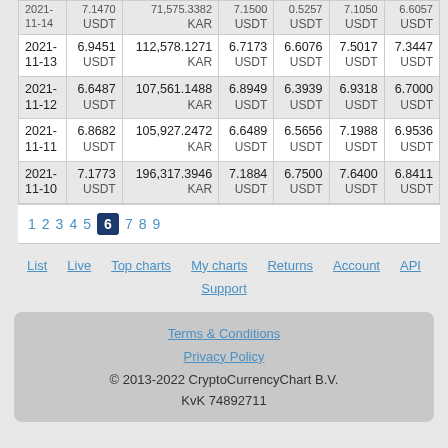| Date | Price | Volume | Open | Low | High | Close |
| --- | --- | --- | --- | --- | --- | --- |
| 2021-11-13 | 6.9451 USDT | 112,578.1271 KAR | 6.7173 USDT | 6.6076 USDT | 7.5017 USDT | 7.3447 USDT |
| 2021-11-12 | 6.6487 USDT | 107,561.1488 KAR | 6.8949 USDT | 6.3939 USDT | 6.9318 USDT | 6.7000 USDT |
| 2021-11-11 | 6.8682 USDT | 105,927.2472 KAR | 6.6489 USDT | 6.5656 USDT | 7.1988 USDT | 6.9536 USDT |
| 2021-11-10 | 7.1773 USDT | 196,317.3946 KAR | 7.1884 USDT | 6.7500 USDT | 7.6400 USDT | 6.8411 USDT |
1 2 3 4 5 6 7 8 9
List  Live  Top charts  My charts  Returns  Account  API  Support
Terms & Conditions
Privacy Policy
© 2013-2022 CryptoCurrencyChart B.V.
KvK 74892711